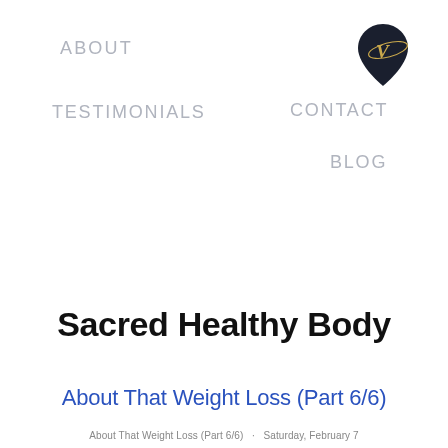ABOUT
TESTIMONIALS
CONTACT
BLOG
[Figure (logo): Black teardrop/pin shaped logo with a gold letter V and decorative swirls]
Sacred Healthy Body
About That Weight Loss (Part 6/6)
About That Weight Loss (Part 6/6) tagline text (partially visible)